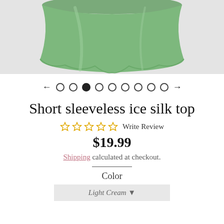[Figure (photo): Product photo of a green short sleeveless ice silk top (garment) displayed flat on a light gray background, cropped at top of page]
← ○ ○ ● ○ ○ ○ ○ ○ ○ →
Short sleeveless ice silk top
☆ ☆ ☆ ☆ ☆ Write Review
$19.99
Shipping calculated at checkout.
Color
Light Cream